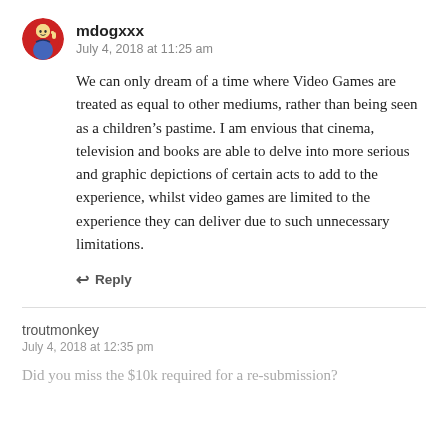mdogxxx
July 4, 2018 at 11:25 am
We can only dream of a time where Video Games are treated as equal to other mediums, rather than being seen as a children’s pastime. I am envious that cinema, television and books are able to delve into more serious and graphic depictions of certain acts to add to the experience, whilst video games are limited to the experience they can deliver due to such unnecessary limitations.
Reply
troutmonkey
July 4, 2018 at 12:35 pm
Did you miss the $10k required for a re-submission?